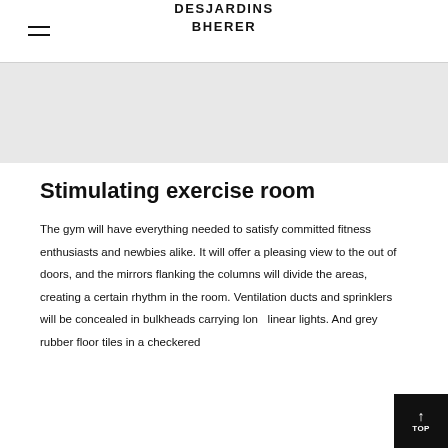DESJARDINS BHERER
[Figure (photo): Grey placeholder image band representing a photo of the exercise room]
Stimulating exercise room
The gym will have everything needed to satisfy committed fitness enthusiasts and newbies alike. It will offer a pleasing view to the out of doors, and the mirrors flanking the columns will divide the areas, creating a certain rhythm in the room. Ventilation ducts and sprinklers will be concealed in bulkheads carrying long linear lights. And grey rubber floor tiles in a checkered